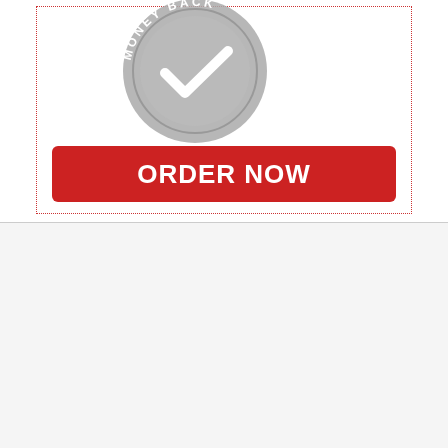[Figure (logo): Money back guarantee circular badge/seal, gray color, partially cropped at top, with checkmark in center and text 'MONEY BACK' around the perimeter]
ORDER NOW
Our Services & Guarantees Make Us the Industry's Best!
Why Choose Logo Jeez
[Figure (illustration): Red trophy/cup icon]
Winners of Multiple Design & Development Awards